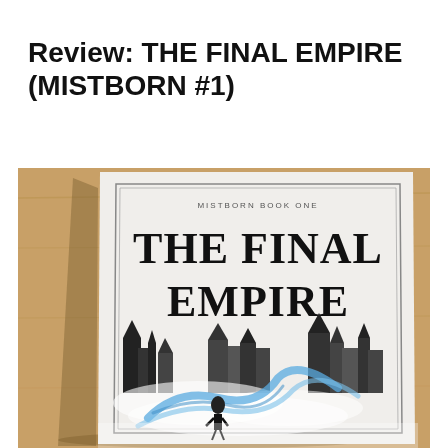Review: THE FINAL EMPIRE (MISTBORN #1)
[Figure (photo): A photograph of the book 'The Final Empire' (Mistborn Book One) by Brandon Sanderson, placed on a wooden surface. The book cover is white with black decorative border, showing the title 'THE FINAL EMPIRE' in large serif font, with gothic city silhouette and a figure with blue flowing ribbons on the cover.]